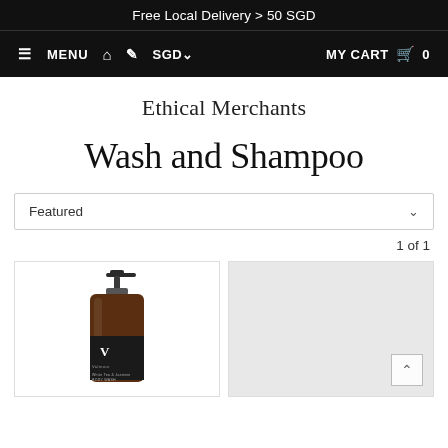Free Local Delivery > 50 SGD
MENU  SGD  MY CART  0
Ethical Merchants
Wash and Shampoo
Featured
1 of 1
[Figure (photo): Amber glass pump bottle with black label featuring 'V' logo — hair/body wash product]